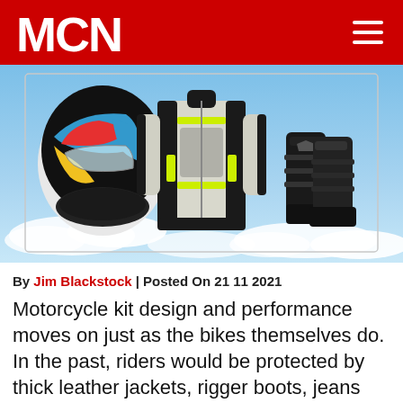MCN
[Figure (photo): Three motorcycle gear items displayed against a blue sky with clouds background: a colorful full-face racing helmet on the left, a white and black adventure motorcycle jacket with yellow accents in the center, and black motorcycle boots on the right.]
By Jim Blackstock | Posted On 21 11 2021
Motorcycle kit design and performance moves on just as the bikes themselves do. In the past, riders would be protected by thick leather jackets, rigger boots, jeans and welding gloves. Today, those same riders are wearing breathable and waterproof jackets